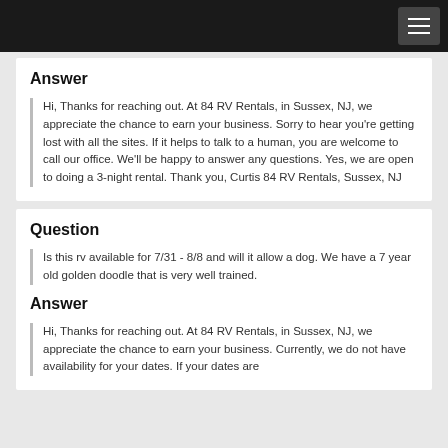Answer
Hi, Thanks for reaching out. At 84 RV Rentals, in Sussex, NJ, we appreciate the chance to earn your business. Sorry to hear you're getting lost with all the sites. If it helps to talk to a human, you are welcome to call our office. We'll be happy to answer any questions. Yes, we are open to doing a 3-night rental. Thank you, Curtis 84 RV Rentals, Sussex, NJ
Question
Is this rv available for 7/31 - 8/8 and will it allow a dog. We have a 7 year old golden doodle that is very well trained.
Answer
Hi, Thanks for reaching out. At 84 RV Rentals, in Sussex, NJ, we appreciate the chance to earn your business. Currently, we do not have availability for your dates. If your dates are